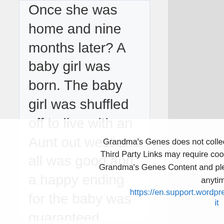Once she was home and nine months later? A baby girl was born. The baby girl was shuffled off to live with an Aunt out west and all was good and a happy ending for the baby was guaranteed.
Bring the numbers were off. We talked of endogamy and it
Grandma's Genes does not collect cookies. WordPress and/or Third Party Links may require cookies. Please continue to enjoy Grandma's Genes Content and please opt-out (leave this site) at anytime. https://en.support.wordpress.com/cookies/ Got it